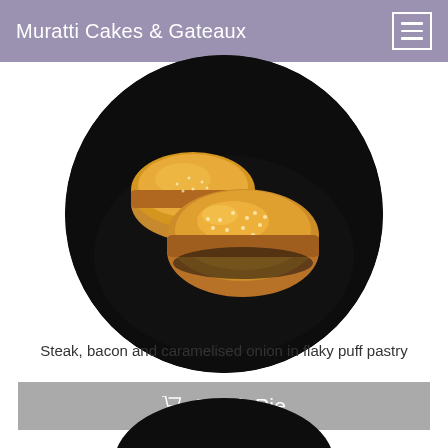Muratti Cakes & Gateaux
[Figure (photo): Circular cropped photograph of two golden-baked steak pies with sesame seeds on top, displayed on a dark black plate against a black background.]
Steak Pie
Steak, bacon and caramelised onion in flaky puff pastry
[Figure (photo): Partial circular cropped photograph showing the top of another food item, cut off at the bottom of the page.]